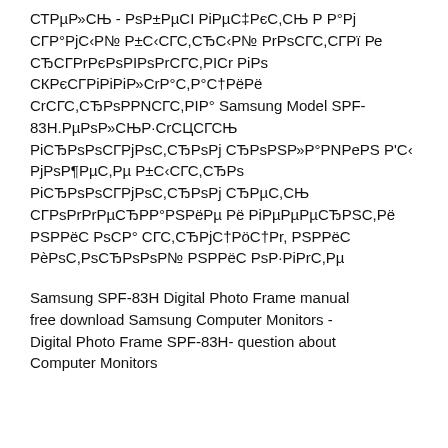СТРµР»СЊ - РsР±РµСТ РіРµС‡РєС,СЊ Р Р°Рj СГР°РjС‹Р№ Р±С‹СГС,СЂС‹Р№ РrРsСГС,СГРї Ре СЂСГРrРєРsPIPsРrСГС,PIСr РіРs СКРєСГРіР»СrР°С,Р°С†РёРë СrСГС,СЂРsPРNСГС,РIР° Samsung Model SPF-83H.РµРsР»СЊР·СrСЦСГСЊ РіСЂРsPsСГРjРsС,СЂРsPj РsPSР»Р°РNРоРS Р'С‹ РjРsР¶РµС,Рµ Р±С‹СГС,СЂРs РіСЂРsPsСГРjРsС,СЂРsPj СЂРµС,СЊ СГРsРrРrРµСЂРP°РSРёРµ Рë РіРµРµСЂРµРNС,Рë РSРРµ РsСР° СГС,СЂРjС†РöС†Рr, РSРРёС РèРsС,РsСЂРsPsР№ РSРРёС РsР·РiРrС,Рµ
Samsung SPF-83H Digital Photo Frame manual free download Samsung Computer Monitors - Digital Photo Frame SPF-83H- question about Computer Monitors